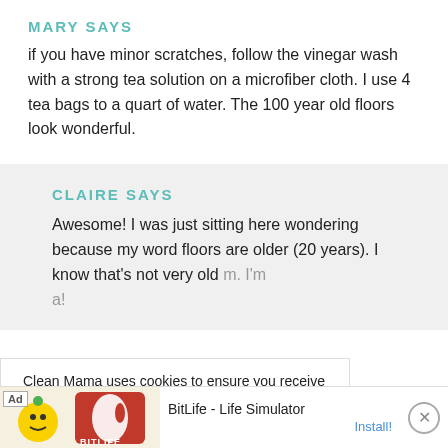MARY SAYS
if you have minor scratches, follow the vinegar wash with a strong tea solution on a microfiber cloth. I use 4 tea bags to a quart of water. The 100 year old floors look wonderful.
CLAIRE SAYS
Awesome! I was just sitting here wondering because my word floors are older (20 years). I know that's not very old [partially obscured] m. I'm [partially obscured] a!
Clean Mama uses cookies to ensure you receive the best website experience. Learn more.
ACCEPT
[Figure (screenshot): Ad banner for BitLife - Life Simulator app with Install button and close X button]